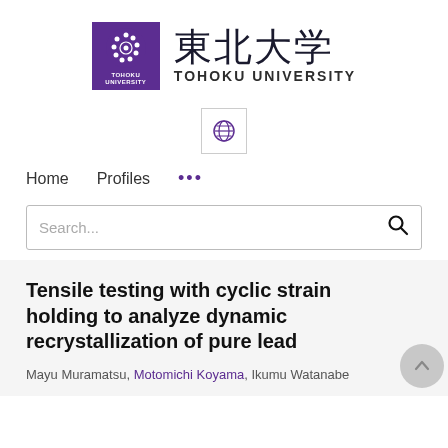[Figure (logo): Tohoku University logo: purple square with circular snake/chain emblem in white, text TOHOKU UNIVERSITY below in white, alongside kanji 東北大学 and TOHOKU UNIVERSITY in dark text]
[Figure (logo): Small lock/globe icon in a bordered box, centered on page]
Home   Profiles   ...
Search...
Tensile testing with cyclic strain holding to analyze dynamic recrystallization of pure lead
Mayu Muramatsu, Motomichi Koyama, Ikumu Watanabe